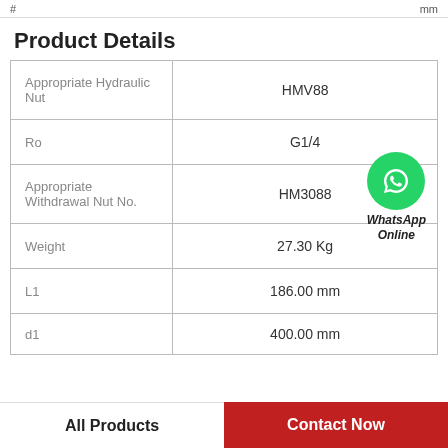# mm
Product Details
|  |  |
| --- | --- |
| Appropriate Hydraulic Nut | HMV88 |
| Ro | G1/4 |
| Appropriate Withdrawal Nut No. | HM3088 |
| Weight | 27.30 Kg |
| L1 | 186.00 mm |
| d1 | 400.00 mm |
[Figure (logo): WhatsApp Online button with green phone icon]
All Products   Contact Now